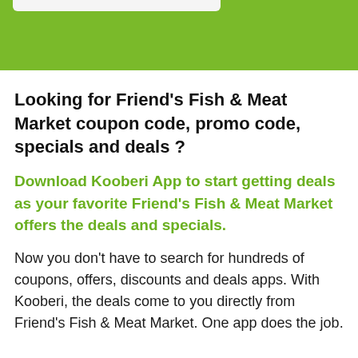[Figure (other): Green header bar with a white/light tab element at the top]
Looking for Friend's Fish & Meat Market coupon code, promo code, specials and deals ?
Download Kooberi App to start getting deals as your favorite Friend's Fish & Meat Market offers the deals and specials.
Now you don't have to search for hundreds of coupons, offers, discounts and deals apps. With Kooberi, the deals come to you directly from Friend's Fish & Meat Market. One app does the job.